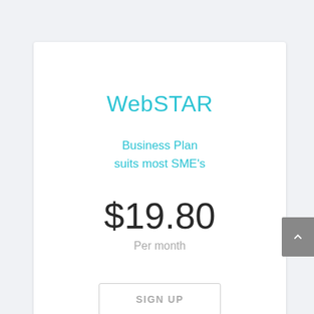WebSTAR
Business Plan
suits most SME's
$19.80
Per month
SIGN UP
All the web you need